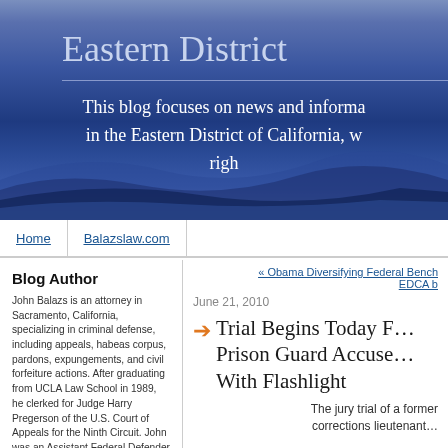Eastern District
This blog focuses on news and information in the Eastern District of California, w… righ…
Home | Balazslaw.com
Blog Author
John Balazs is an attorney in Sacramento, California, specializing in criminal defense, including appeals, habeas corpus, pardons, expungements, and civil forfeiture actions. After graduating from UCLA Law School in 1989, he clerked for Judge Harry Pregerson of the U.S. Court of Appeals for the Ninth Circuit. John was an Assistant Federal Defender in Fresno and Sacramento from 1992-2001. Please email EDCA items of…
« Obama Diversifying Federal Bench EDCA b…
June 21, 2010
Trial Begins Today F… Prison Guard Accuse… With Flashlight
The jury trial of a former corrections lieutenant…